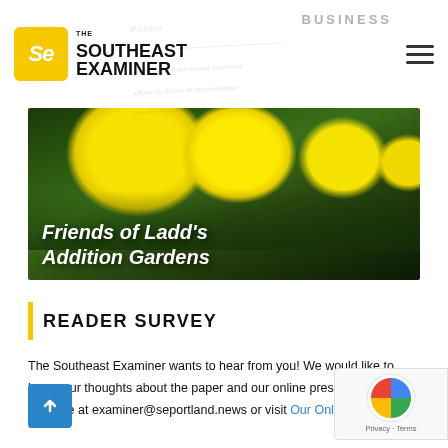THE SOUTHEAST EXAMINER
[Figure (screenshot): Hero image of yellow flowers (pansies) with bold white italic text overlay reading 'Friends of Ladd's Addition Gardens']
READER SURVEY
The Southeast Examiner wants to hear from you! We would like to hear your thoughts about the paper and our online presence. Drop us a line at examiner@seportland.news or visit Our Online Survey Here.